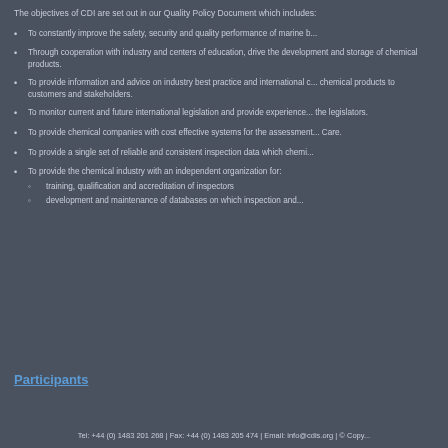The objectives of CDI are set out in our Quality Policy Document which includes:
To constantly improve the safety, security and quality performance of marine b...
Through cooperation with industry and centers of education, drive the development and storage of chemical products.
To provide information and advice on industry best practice and international c... chemical products to customers and stakeholders.
To monitor current and future international legislation and provide experience... the legislators.
To provide chemical companies with cost effective systems for the assessment... Care.
To provide a single set of reliable and consistent inspection data which chemi...
To provide the chemical industry with an independent organization for:
- training, qualification and accreditation of inspectors
- development and maintenance of databases on which inspection and...
Participants
Tel: +44 (0) 1483 201 268 | Fax: +44 (0) 1483 205 474 | Email: info@cdis.org | © Copy...